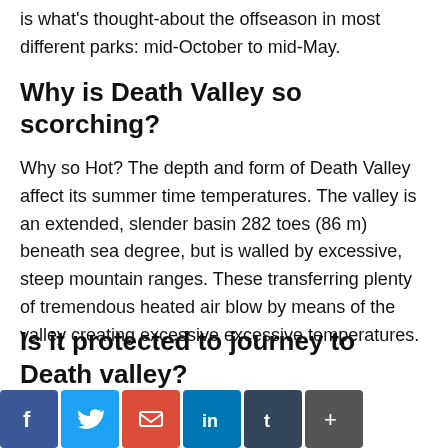is what's thought-about the offseason in most different parks: mid-October to mid-May.
Why is Death Valley so scorching?
Why so Hot? The depth and form of Death Valley affect its summer time temperatures. The valley is an extended, slender basin 282 toes (86 m) beneath sea degree, but is walled by excessive, steep mountain ranges. These transferring plenty of tremendous heated air blow by means of the valley creating excessive excessive temperatures.
Is it protected to journey to Death Valley?